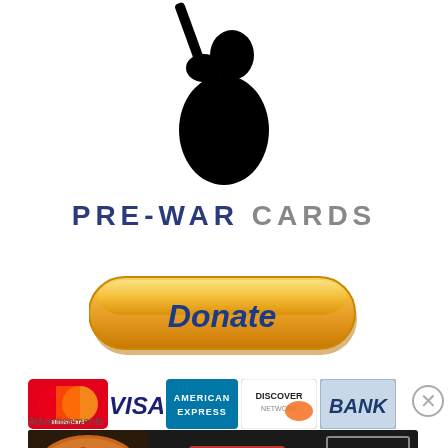[Figure (logo): Silhouette of a baseball batter swinging, black on white background]
PRE-WAR CARDS
[Figure (illustration): PayPal Donate button — gold/orange rounded rectangle with italic blue 'Donate' text]
[Figure (infographic): Payment method logos: MasterCard, VISA, American Express, Discover Network, BANK]
Advertisements
[Figure (screenshot): Seamless food delivery advertisement banner with pizza photo, Seamless logo, and ORDER NOW button]